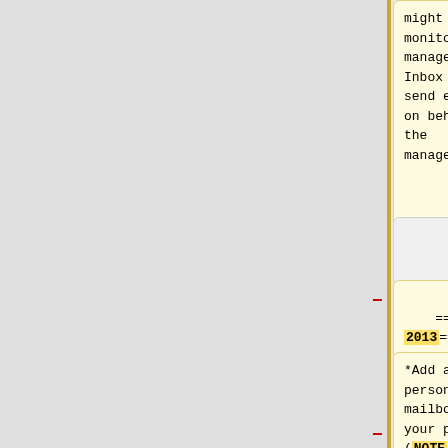might also monitor a manager's Inbox and send email on behalf of the manager.''
might also monitor a manager's Inbox and send email on behalf of the manager.
===Outlook 2013===
===Outlook 2016===
*Add another person's mailbox to your profile (NOTE: The person who is sharing a mailbox must grant you